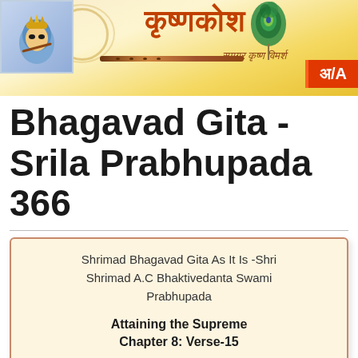[Figure (logo): Krishna Kosha website header banner with Sanskrit/Hindi text logo, Krishna face illustration, peacock feather, flute, and अ/A button]
Bhagavad Gita -Srila Prabhupada 366
Shrimad Bhagavad Gita As It Is -Shri Shrimad A.C Bhaktivedanta Swami Prabhupada

Attaining the Supreme
Chapter 8: Verse-15
mäm upetya punar janma
duhkhälayam asäsvatam
näpnuvanti mahätmänah